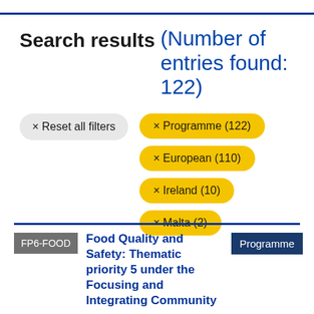Search results (Number of entries found: 122)
× Reset all filters
× Programme (122)
× European (110)
× Ireland (10)
× Malta (2)
FP6-FOOD
Food Quality and Safety: Thematic priority 5 under the Focusing and Integrating Community
Programme